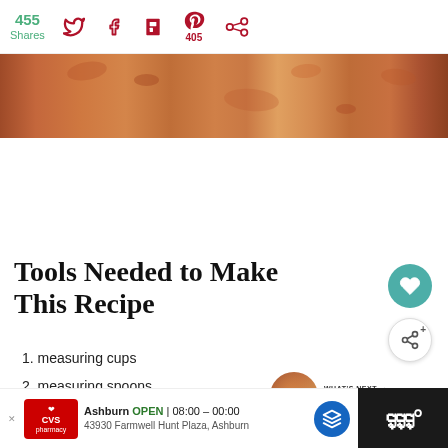455 Shares
[Figure (photo): Close-up photo of a cooked hamburger patty surface, golden-brown and textured]
Tools Needed to Make This Recipe
1. measuring cups
2. measuring spoons
3. hamburger pattie shaper
4.
WHAT'S NEXT → Homemade Italian...
Ashburn OPEN | 08:00 – 00:00 | 43930 Farmwell Hunt Plaza, Ashburn